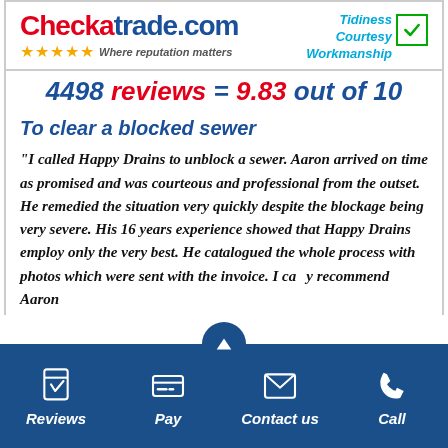[Figure (logo): Checkatrade.com logo with red and blue text, 5 gold stars, tagline 'Where reputation matters', tidiness/courtesy/workmanship badges with green checkmark]
4498 reviews = 9.83 out of 10
To clear a blocked sewer
"I called Happy Drains to unblock a sewer. Aaron arrived on time as promised and was courteous and professional from the outset. He remedied the situation very quickly despite the blockage being very severe. His 16 years experience showed that Happy Drains employ only the very best. He catalogued the whole process with photos which were sent with the invoice. I ca...y recommend Aaron
Reviews | Pay | Contact us | Call